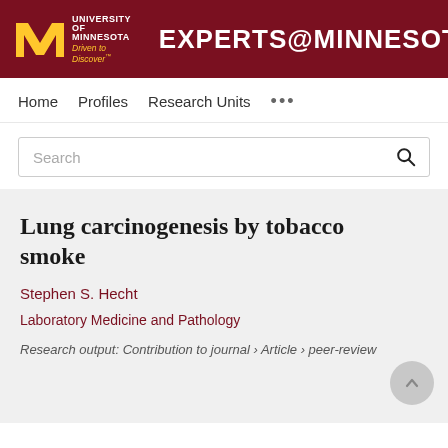UNIVERSITY OF MINNESOTA Driven to Discover® EXPERTS@MINNESOTA
Home   Profiles   Research Units   ...
Search
Lung carcinogenesis by tobacco smoke
Stephen S. Hecht
Laboratory Medicine and Pathology
Research output: Contribution to journal › Article › peer-review